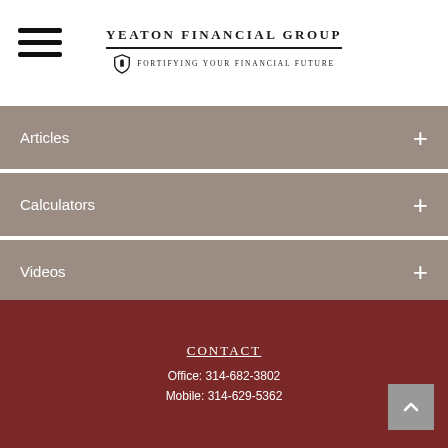Yeaton Financial Group — Fortifying Your Financial Future
Articles
Calculators
Videos
Contact — Office: 314-682-3802 — Mobile: 314-629-5362